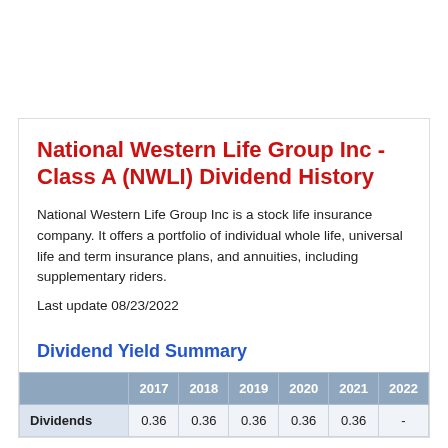National Western Life Group Inc - Class A (NWLI) Dividend History
National Western Life Group Inc is a stock life insurance company. It offers a portfolio of individual whole life, universal life and term insurance plans, and annuities, including supplementary riders.
Last update 08/23/2022
Dividend Yield Summary
|  | 2017 | 2018 | 2019 | 2020 | 2021 | 2022 |
| --- | --- | --- | --- | --- | --- | --- |
| Dividends | 0.36 | 0.36 | 0.36 | 0.36 | 0.36 | - |